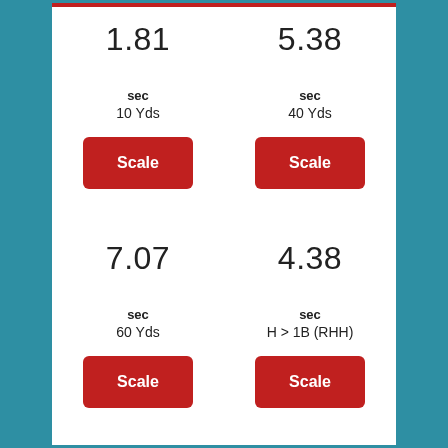1.81
5.38
sec
10 Yds
sec
40 Yds
Scale
Scale
7.07
4.38
sec
60 Yds
sec
H > 1B (RHH)
Scale
Scale